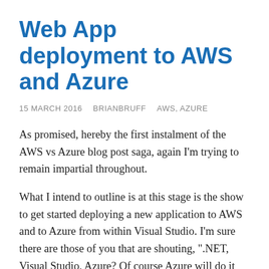Web App deployment to AWS and Azure
15 MARCH 2016   BRIANBRUFF   AWS, AZURE
As promised, hereby the first instalment of the AWS vs Azure blog post saga, again I'm trying to remain impartial throughout.
What I intend to outline is at this stage is the show to get started deploying a new application to AWS and to Azure from within Visual Studio. I'm sure there are those of you that are shouting, ".NET, Visual Studio, Azure? Of course Azure will do it better!!!" however rest assured this is only the first of a few posts related to Azure App Service and AWS elastic beanstalk and